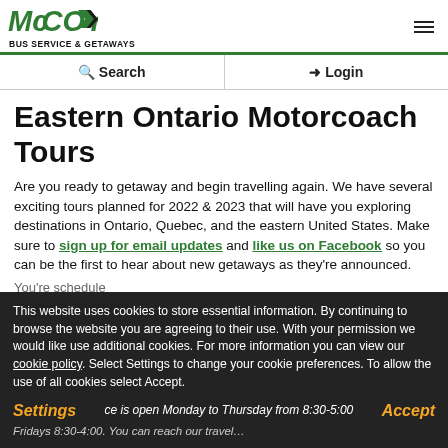McCOY BUS SERVICE & GETAWAYS
Eastern Ontario Motorcoach Tours
Are you ready to getaway and begin travelling again. We have several exciting tours planned for 2022 & 2023 that will have you exploring destinations in Ontario, Quebec, and the eastern United States. Make sure to sign up for email updates and like us on Facebook so you can be the first to hear about new getaways as they're announced.
This website uses cookies to store essential information. By continuing to browse the website you are agreeing to their use. With your permission we would like use additional cookies. For more information you can view our cookie policy. Select Settings to change your cookie preferences. To allow the use of all cookies select Accept.
Settings
Accept